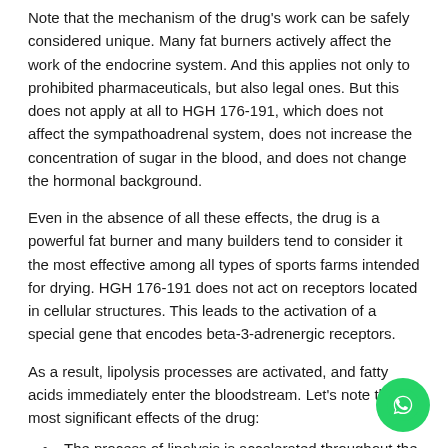Note that the mechanism of the drug's work can be safely considered unique. Many fat burners actively affect the work of the endocrine system. And this applies not only to prohibited pharmaceuticals, but also legal ones. But this does not apply at all to HGH 176-191, which does not affect the sympathoadrenal system, does not increase the concentration of sugar in the blood, and does not change the hormonal background.
Even in the absence of all these effects, the drug is a powerful fat burner and many builders tend to consider it the most effective among all types of sports farms intended for drying. HGH 176-191 does not act on receptors located in cellular structures. This leads to the activation of a special gene that encodes beta-3-adrenergic receptors.
As a result, lipolysis processes are activated, and fatty acids immediately enter the bloodstream. Let's note the most significant effects of the drug:
The process of lipolysis is accelerated throughout the body, including problem areas.
Catabolic reactions are suppressed.
The rate of bone mineralization improves.
The body's energy reserves are increased.
[Figure (logo): WhatsApp contact button (green circle with white phone icon)]